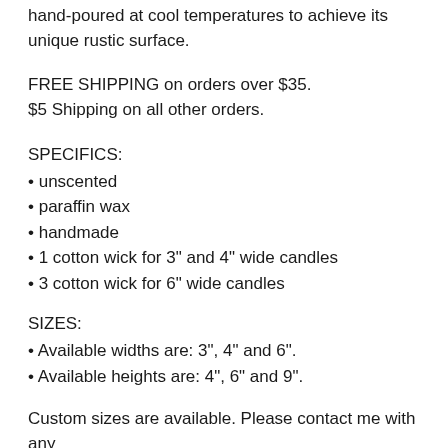hand-poured at cool temperatures to achieve its unique rustic surface.
FREE SHIPPING on orders over $35.
$5 Shipping on all other orders.
SPECIFICS:
• unscented
• paraffin wax
• handmade
• 1 cotton wick for 3" and 4" wide candles
• 3 cotton wick for 6" wide candles
SIZES:
• Available widths are: 3", 4" and 6".
• Available heights are: 4", 6" and 9".
Custom sizes are available. Please contact me with any